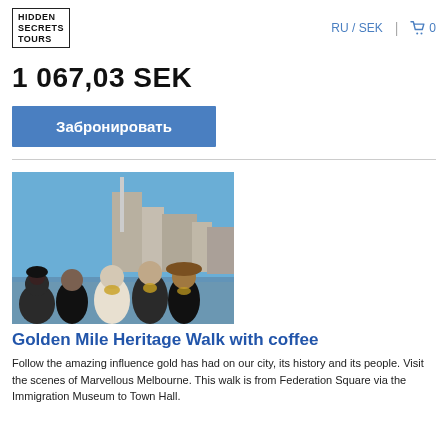HIDDEN SECRETS TOURS   RU / SEK  🛒 0
1 067,03 SEK
Забронировать
[Figure (photo): Group of five people posing together outdoors in front of city buildings and a blue sky]
Golden Mile Heritage Walk with coffee
Follow the amazing influence gold has had on our city, its history and its people. Visit the scenes of Marvellous Melbourne. This walk is from Federation Square via the Immigration Museum to Town Hall.